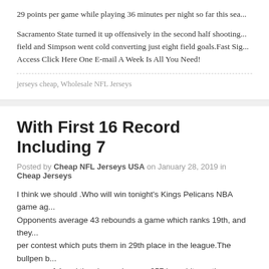29 points per game while playing 36 minutes per night so far this sea...
Sacramento State turned it up offensively in the second half shooting... field and Simpson went cold converting just eight field goals.Fast Sig... Access Click Here One E-mail A Week Is All You Need!
jerseys cheap, Wholesale NFL Jerseys
With First 16 Record Including 7
Posted by Cheap NFL Jerseys USA on January 28, 2019 in Cheap Jerseys
I think we should .Who will win tonight's Kings Pelicans NBA game ag... Opponents average 43 rebounds a game which ranks 19th, and they... per contest which puts them in 29th place in the league.The bullpen b... average of 4 and they have given up 257 base hits on the year.can go... centerfielder A.J.BILLY BROWN This post contains spoilers for the seas... finale.
The Giants have 1 hits, including 210 doubles and 108 home runs.Fri...